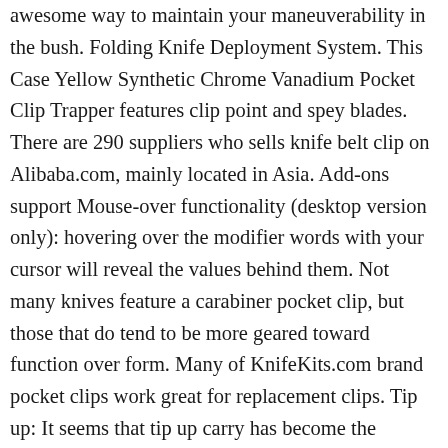awesome way to maintain your maneuverability in the bush. Folding Knife Deployment System. This Case Yellow Synthetic Chrome Vanadium Pocket Clip Trapper features clip point and spey blades. There are 290 suppliers who sells knife belt clip on Alibaba.com, mainly located in Asia. Add-ons support Mouse-over functionality (desktop version only): hovering over the modifier words with your cursor will reveal the values behind them. Not many knives feature a carabiner pocket clip, but those that do tend to be more geared toward function over form. Many of KnifeKits.com brand pocket clips work great for replacement clips. Tip up: It seems that tip up carry has become the standard for pocket clip position as many brands only offer their knives with a tip up option. High-Carbon Steel. For many knife owners, the deep carry clip is the only way they want to keep their knife secure. Sent from and sold by Amazon. The handles are Yellow Synthetic with brass pins and liners, nickel silver bolsters, as well as a nickel silver Case Oval shield. Packaging should be the